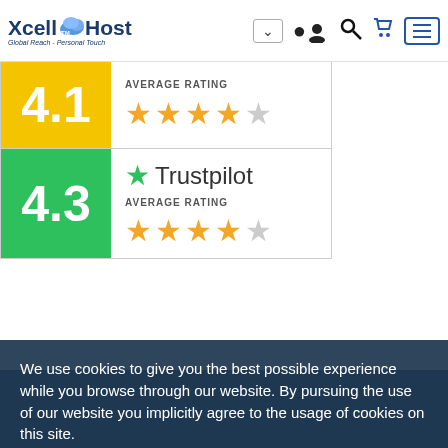XcellHost Global Reach - Personal Touch
[Figure (infographic): Rating badge: 4.1 average rating with 4 gold stars and 1 gray star]
[Figure (infographic): Trustpilot rating badge: 4.3 average rating with Trustpilot logo and 4 gold stars and 1 gray star]
We use cookies to give you the best possible experience while you browse through our website. By pursuing the use of our website you implicitly agree to the usage of cookies on this site.
Got it!
Do not track